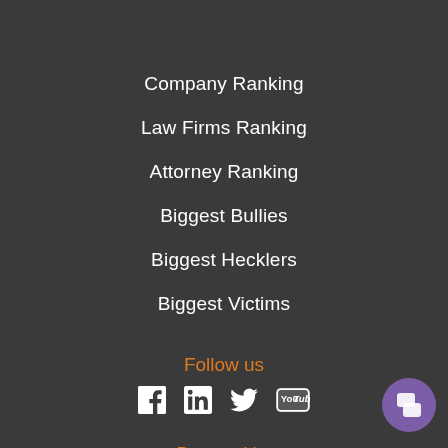Company Ranking
Law Firms Ranking
Attorney Ranking
Biggest Bullies
Biggest Hecklers
Biggest Victims
Follow us
[Figure (infographic): Social media icons: Facebook, LinkedIn, Twitter, YouTube]
Powered by
[Figure (infographic): Chat bubble button in bottom right corner]